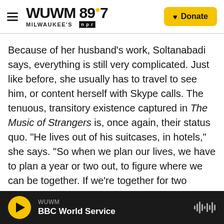WUWM 89.7 MILWAUKEE'S NPR — Donate
Because of her husband's work, Soltanabadi says, everything is still very complicated. Just like before, she usually has to travel to see him, or content herself with Skype calls. The tenuous, transitory existence captured in The Music of Strangers is, once again, their status quo. "He lives out of his suitcases, in hotels," she says. "So when we plan our lives, we have to plan a year or two out, to figure where we can be together. If we're together for two weeks at a time, that's very unusual. And it's a big source of happiness for him."
WUWM — BBC World Service